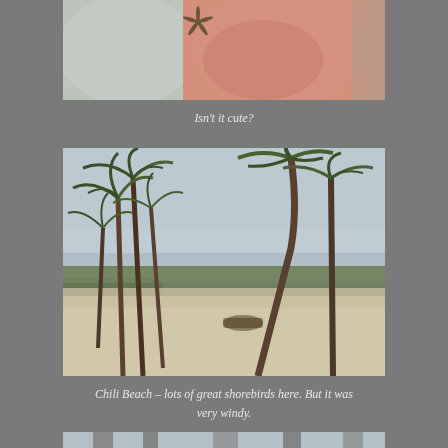[Figure (photo): Close-up photo of what appears to be a small starfish or sea creature on sunburned or textured pink skin]
Isn't it cute?
[Figure (photo): Chili Beach scene with palm trees bending in strong wind, sandy beach, and overcast sky with ocean in the background]
Chili Beach – lots of great shorebirds here. But it was very windy.
[Figure (photo): Partial view of another photo at the bottom of the page]